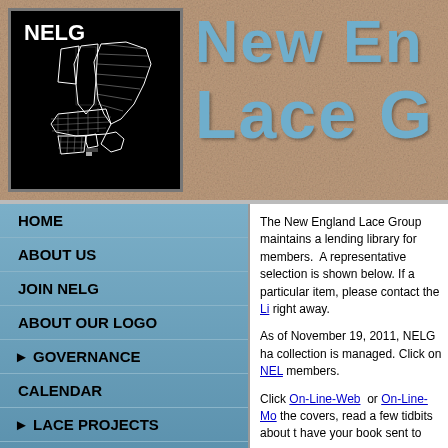[Figure (logo): NELG logo: white lace map of New England states on black background with 'NELG' text]
New England Lace G[roup]
HOME
ABOUT US
JOIN NELG
ABOUT OUR LOGO
▸ GOVERNANCE
CALENDAR
▸ LACE PROJECTS
▸ LACE CHALLENGE
MEMBERS' LACE
The New England Lace Group maintains a lending library for members. A representative selection is shown below. If a particular item, please contact the Li[brarian] right away.
As of November 19, 2011, NELG ha[s updated how the] collection is managed. Click on NE[LG Library] members.
Click On-Line-Web or On-Line-Mo[bile to see] the covers, read a few tidbits about t[he book and] have your book sent to you.